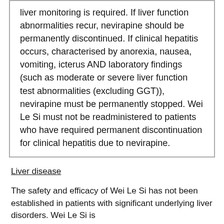liver monitoring is required. If liver function abnormalities recur, nevirapine should be permanently discontinued. If clinical hepatitis occurs, characterised by anorexia, nausea, vomiting, icterus AND laboratory findings (such as moderate or severe liver function test abnormalities (excluding GGT)), nevirapine must be permanently stopped. Wei Le Si must not be readministered to patients who have required permanent discontinuation for clinical hepatitis due to nevirapine.
Liver disease
The safety and efficacy of Wei Le Si has not been established in patients with significant underlying liver disorders. Wei Le Si is